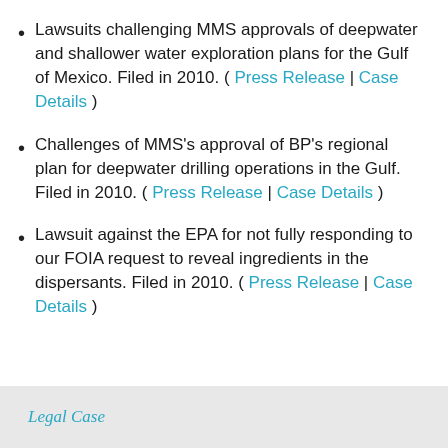Lawsuits challenging MMS approvals of deepwater and shallower water exploration plans for the Gulf of Mexico. Filed in 2010. ( Press Release | Case Details )
Challenges of MMS's approval of BP's regional plan for deepwater drilling operations in the Gulf. Filed in 2010. ( Press Release | Case Details )
Lawsuit against the EPA for not fully responding to our FOIA request to reveal ingredients in the dispersants. Filed in 2010. ( Press Release | Case Details )
Legal Case